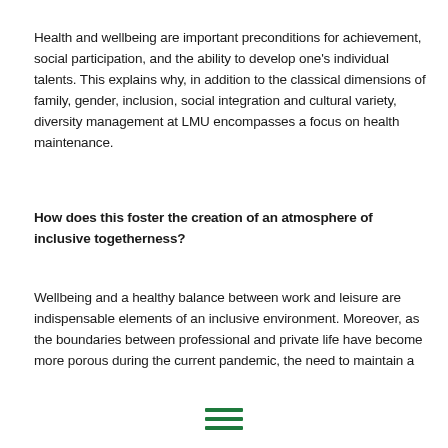Health and wellbeing are important preconditions for achievement, social participation, and the ability to develop one's individual talents. This explains why, in addition to the classical dimensions of family, gender, inclusion, social integration and cultural variety, diversity management at LMU encompasses a focus on health maintenance.
How does this foster the creation of an atmosphere of inclusive togetherness?
Wellbeing and a healthy balance between work and leisure are indispensable elements of an inclusive environment. Moreover, as the boundaries between professional and private life have become more porous during the current pandemic, the need to maintain a
[Figure (other): Hamburger menu icon with three horizontal green lines]